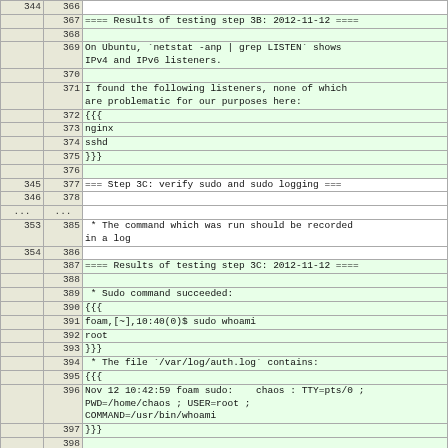| col1 | col2 | content |
| --- | --- | --- |
| 344 | 366 |  |
|  | 367 | ==== Results of testing step 3B: 2012-11-12 ==== |
|  | 368 |  |
|  | 369 | On Ubuntu, `netstat -anp | grep LISTEN` shows
IPv4 and IPv6 listeners. |
|  | 370 |  |
|  | 371 | I found the following listeners, none of which
are problematic for our purposes here: |
|  | 372 | {{{ |
|  | 373 | nginx |
|  | 374 | sshd |
|  | 375 | }}} |
|  | 376 |  |
| 345 | 377 | === Step 3C: verify sudo and sudo logging === |
| 346 | 378 |  |
| ... | ... |  |
| 353 | 385 |  * The command which was run should be recorded
in a log |
| 354 | 386 |  |
|  | 387 | ==== Results of testing step 3C: 2012-11-12 ==== |
|  | 388 |  |
|  | 389 |  * Sudo command succeeded: |
|  | 390 | {{{ |
|  | 391 | foam,[~],10:40(0)$ sudo whoami |
|  | 392 | root |
|  | 393 | }}} |
|  | 394 |  * The file `/var/log/auth.log` contains: |
|  | 395 | {{{ |
|  | 396 | Nov 12 10:42:59 foam sudo:    chaos : TTY=pts/0 ;
PWD=/home/chaos ; USER=root ;
COMMAND=/usr/bin/whoami |
|  | 397 | }}} |
|  | 398 |  |